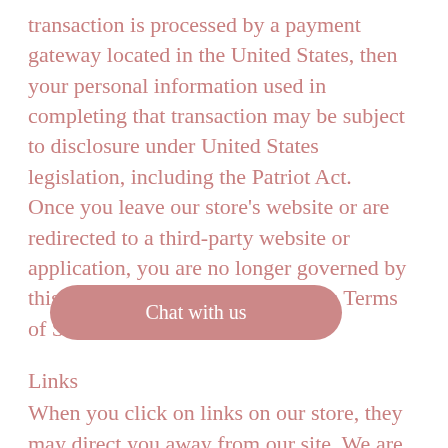transaction is processed by a payment gateway located in the United States, then your personal information used in completing that transaction may be subject to disclosure under United States legislation, including the Patriot Act. Once you leave our store’s website or are redirected to a third-party website or application, you are no longer governed by this Privacy Policy or our website’s Terms of Service.
Links
When you click on links on our store, they may direct you away from our site. We are not responsible for the privacy practices of other sites and encourage y… privacy statements. Goo… …a.
Our store uses Google Analytics to help us learn